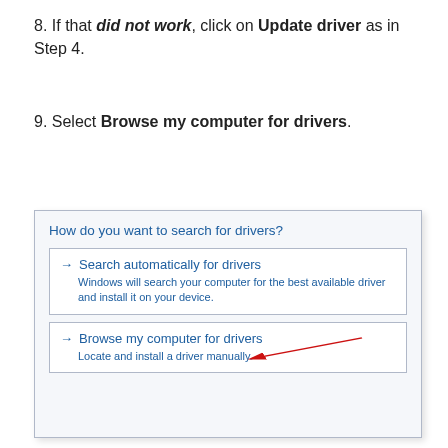8. If that did not work, click on Update driver as in Step 4.
9. Select Browse my computer for drivers.
[Figure (screenshot): Windows Update Driver dialog showing 'How do you want to search for drivers?' with two options: 'Search automatically for drivers' (with description 'Windows will search your computer for the best available driver and install it on your device.') and 'Browse my computer for drivers' (with description 'Locate and install a driver manually.') with a red arrow pointing to the second option.]